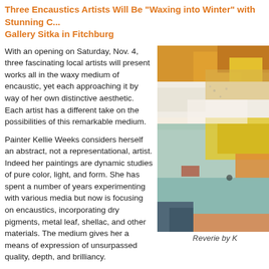Three Encaustics Artists Will Be "Waxing into Winter" with Stunning C... Gallery Sitka in Fitchburg
With an opening on Saturday, Nov. 4, three fascinating local artists will present works all in the waxy medium of encaustic, yet each approaching it by way of her own distinctive aesthetic. Each artist has a different take on the possibilities of this remarkable medium.
Painter Kellie Weeks considers herself an abstract, not a representational, artist. Indeed her paintings are dynamic studies of pure color, light, and form. She has spent a number of years experimenting with various media but now is focusing on encaustics, incorporating dry pigments, metal leaf, shellac, and other materials. The medium gives her a means of expression of unsurpassed quality, depth, and brilliancy.
[Figure (photo): Abstract encaustic painting showing colorful wax layers with orange, yellow, white, teal, and blue tones]
Reverie by K
Jeanne Borofsky has a wonderful work ethic: "I like to have fun when I work," she says. "Combining two of my favorite activities- folding origami and painting with wax, I construct images that explore the use and interaction of color with whimsica... dreams and fantasies."
Artist and Art Therapist Darcy Schultz defines the ingredients of encaustic w... beeswax, Damar varnish (tree sap), and ground rock pigments. She ha...